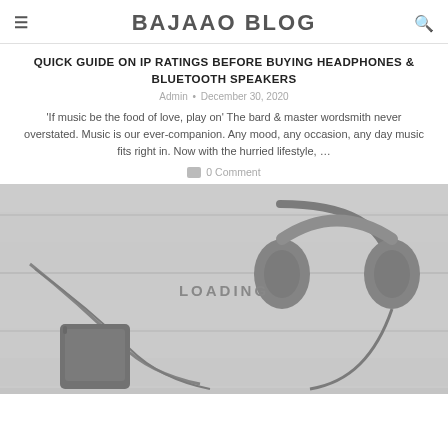BAJAAO BLOG
QUICK GUIDE ON IP RATINGS BEFORE BUYING HEADPHONES & BLUETOOTH SPEAKERS
Admin • December 30, 2020
'If music be the food of love, play on'  The bard & master wordsmith never overstated. Music is our ever-companion. Any mood, any occasion, any day music fits right in. Now with the hurried lifestyle, …
0 Comment
[Figure (photo): Black and white photo of headphones with cable and a smartphone on a wooden surface, with a LOADING overlay]